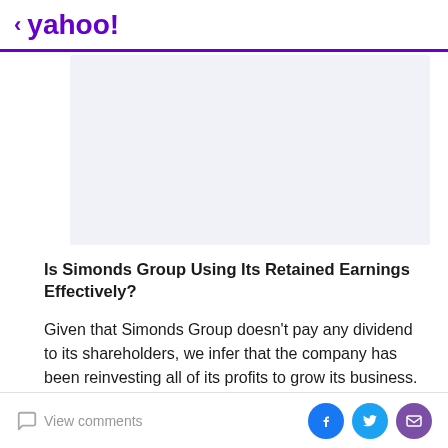< yahoo!
[Figure (other): Advertisement placeholder — light gray/blue rectangle]
Is Simonds Group Using Its Retained Earnings Effectively?
Given that Simonds Group doesn't pay any dividend to its shareholders, we infer that the company has been reinvesting all of its profits to grow its business.
Summary
View comments | social share icons (Facebook, Twitter, Mail)